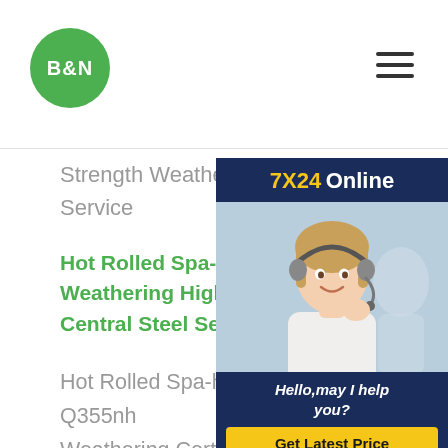B&N
Strength Weathering Steel Sheets Central Steel Service
Hot Rolled Spa-h 09cupcrni-a Q355nh Weathering High Strength Weathering Central Steel Service
[Figure (photo): Customer service representative woman with headset, 7X24 Online chat widget with 'Hello,may I help you?' text and 'Get Latest Price' button]
Hot Rolled Spa-h 09cupcrni-a Q355nh Weathering Corten Steel Plate/sheet Bs Cutting Bending Decoiling Gb , Find Complete Details about Hot Rolled Spa-h 09cupcrni-a Q355nh B480gnqr Weathering Corten Steel Plate/sheet Bs Astm Aisi Cutting Bending Decoiling Gb,Hot Rolled Weathering Corten Steel Plate/sheet,Weathering Corten Steel Plate,Weathering Corten Steel Sheet